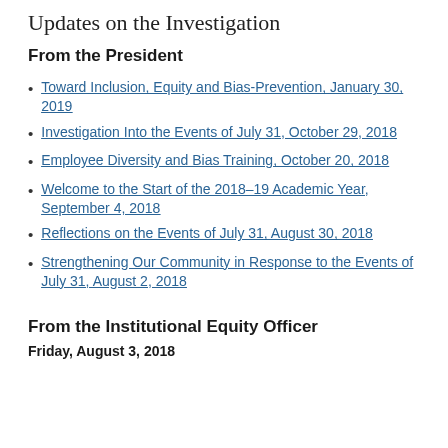Updates on the Investigation
From the President
Toward Inclusion, Equity and Bias-Prevention, January 30, 2019
Investigation Into the Events of July 31, October 29, 2018
Employee Diversity and Bias Training, October 20, 2018
Welcome to the Start of the 2018–19 Academic Year, September 4, 2018
Reflections on the Events of July 31, August 30, 2018
Strengthening Our Community in Response to the Events of July 31, August 2, 2018
From the Institutional Equity Officer
Friday, August 3, 2018